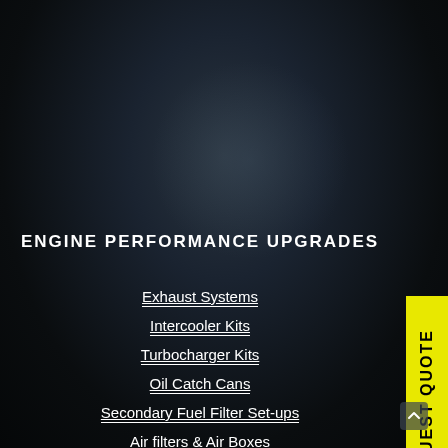[Figure (photo): Dark background with subtle radial gradient simulating a dark engine bay or industrial background]
ENGINE PERFORMANCE UPGRADES
Exhaust Systems
Intercooler Kits
Turbocharger Kits
Oil Catch Cans
Secondary Fuel Filter Set-ups
Air filters & Air Boxes